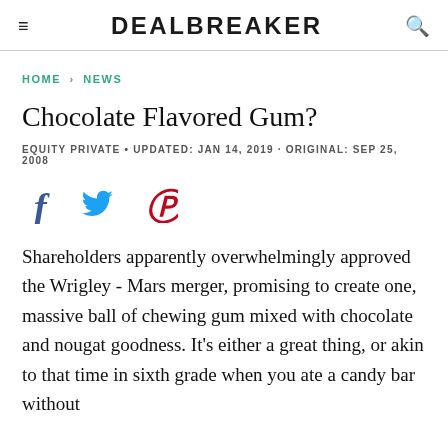DEALBREAKER
HOME > NEWS
Chocolate Flavored Gum?
EQUITY PRIVATE • UPDATED: JAN 14, 2019 · ORIGINAL: SEP 25, 2008
[Figure (other): Social sharing icons: Facebook, Twitter, Pinterest]
Shareholders apparently overwhelmingly approved the Wrigley - Mars merger, promising to create one, massive ball of chewing gum mixed with chocolate and nougat goodness. It's either a great thing, or akin to that time in sixth grade when you ate a candy bar without